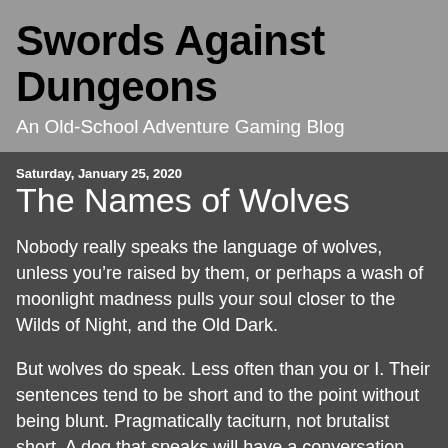Swords Against Dungeons
An Old-School Adventure Gaming Blog
Saturday, January 25, 2020
The Names of Wolves
Nobody really speaks the language of wolves, unless you’re raised by them, or perhaps a wash of moonlight madness pulls your soul closer to the Wilds of Night, and the Old Dark.
But wolves do speak. Less often than you or I. Their sentences tend to be short and to the point without being blunt. Pragmatically taciturn, not brutalist short. A dog that speaks will have a conversation. They will tell you that they have a favorite tree and that they like you and generally chatter. A wolf will tell you what you need to know, and that’s about it. A dog will say “please.” Wolves do not. And they are